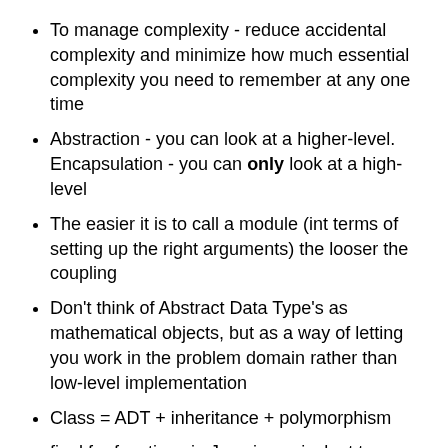To manage complexity - reduce accidental complexity and minimize how much essential complexity you need to remember at any one time
Abstraction - you can look at a higher-level. Encapsulation - you can only look at a high-level
The easier it is to call a module (int terms of setting up the right arguments) the looser the coupling
Don't think of Abstract Data Type's as mathematical objects, but as a way of letting you work in the problem domain rather than low-level implementation
Class = ADT + inheritance + polymorphism
final for functions in Java is equivalent to non-virtual in C++
inheritance tends to contradict reducing complexity
Routines 100-200 lines long are no more error